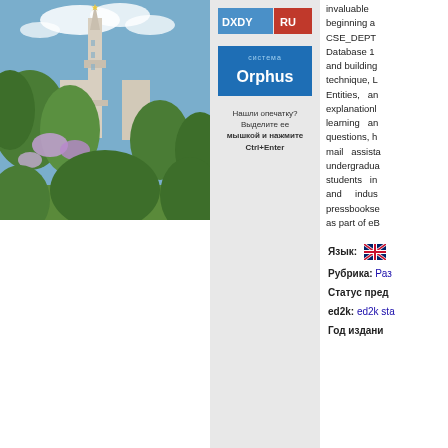[Figure (photo): Photograph of Moscow State University main building with trees and lilac bushes in foreground]
[Figure (logo): DXDY.RU logo banner]
[Figure (logo): Sistema Orphus logo banner]
Нашли опечатку? Выделите ее мышкой и нажмите Ctrl+Enter
invaluable beginning a CSE_DEPT Database 1 and building technique, L Entities, an explanationl learning an questions, h mail assista undergradua students in and indus pressbookse as part of eB
Язык:
Рубрика: Раз
Статус пред
ed2k: ed2k sta
Год издани